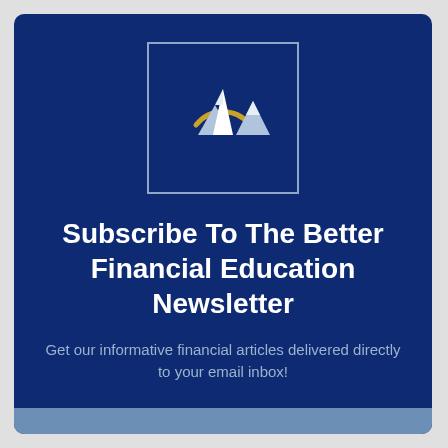[Figure (logo): Better Financial Education logo: dark blue square with light blue/grey border, showing white mountain peaks silhouette with a gold/yellow arc above them]
Subscribe To The Better Financial Education Newsletter
Get our informative financial articles delivered directly to your email inbox!